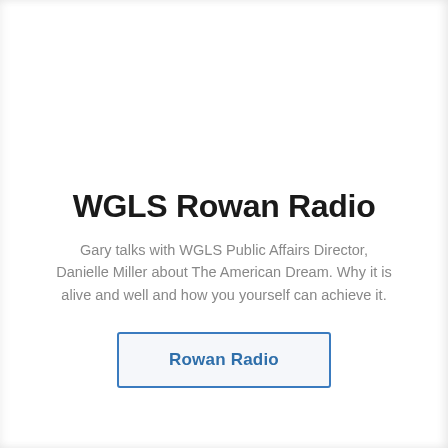WGLS Rowan Radio
Gary talks with WGLS Public Affairs Director, Danielle Miller about The American Dream. Why it is alive and well and how you yourself can achieve it.
Rowan Radio